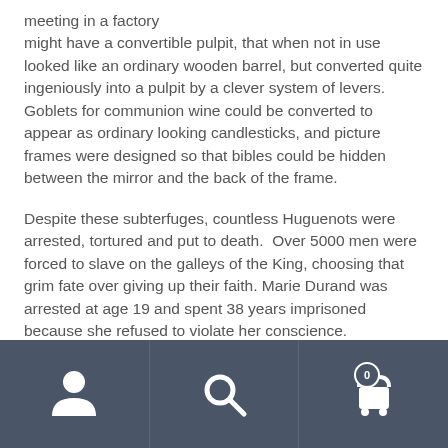meeting in a factory might have a convertible pulpit, that when not in use looked like an ordinary wooden barrel, but converted quite ingeniously into a pulpit by a clever system of levers. Goblets for communion wine could be converted to appear as ordinary looking candlesticks, and picture frames were designed so that bibles could be hidden between the mirror and the back of the frame.
Despite these subterfuges, countless Huguenots were arrested, tortured and put to death. Over 5000 men were forced to slave on the galleys of the King, choosing that grim fate over giving up their faith. Marie Durand was arrested at age 19 and spent 38 years imprisoned because she refused to violate her conscience.
[Figure (other): Mobile app bottom navigation bar with three icons: user/person icon, search/magnifying glass icon, and shopping cart icon with badge showing 0]